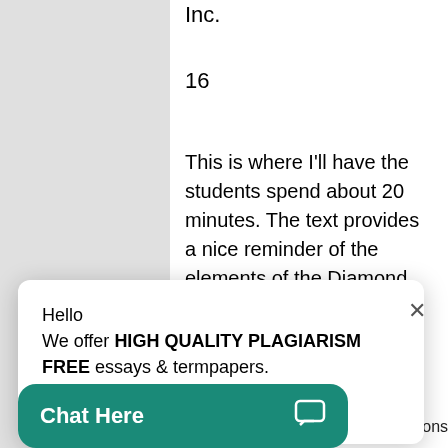Inc.
16
This is where I'll have the students spend about 20 minutes. The text provides a nice reminder of the elements of the Diamond. Again, students can either develop a diamond model for the company that they are using for a semester length
Hello
We offer HIGH QUALITY PLAGIARISM FREE essays & termpapers.

Chat...
Chat Here
iley & Sons,